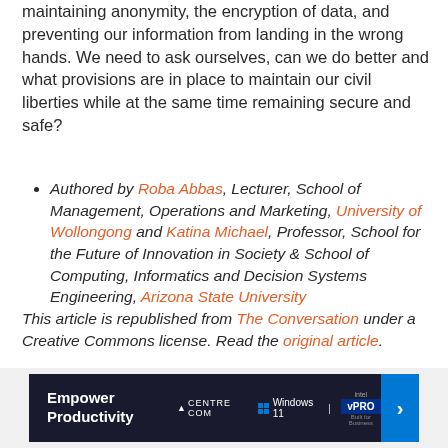maintaining anonymity, the encryption of data, and preventing our information from landing in the wrong hands. We need to ask ourselves, can we do better and what provisions are in place to maintain our civil liberties while at the same time remaining secure and safe?
Authored by Roba Abbas, Lecturer, School of Management, Operations and Marketing, University of Wollongong and Katina Michael, Professor, School for the Future of Innovation in Society & School of Computing, Informatics and Decision Systems Engineering, Arizona State University
This article is republished from The Conversation under a Creative Commons license. Read the original article.
[Figure (other): Advertisement banner: Empower Productivity - Centre Com, Windows 11, Intel vPRO]